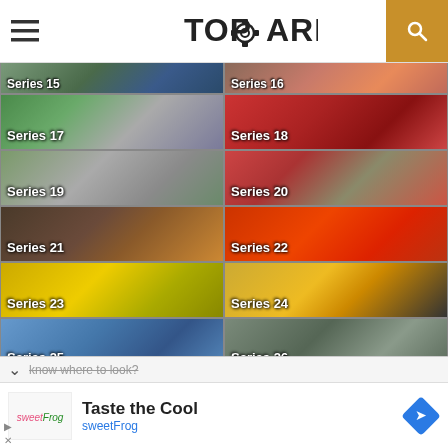TopGearbox
[Figure (screenshot): Grid of Top Gear series thumbnails: Series 15-26 and Specials, each showing car images with overlaid series labels]
know where to look?
Taste the Cool
sweetFrog